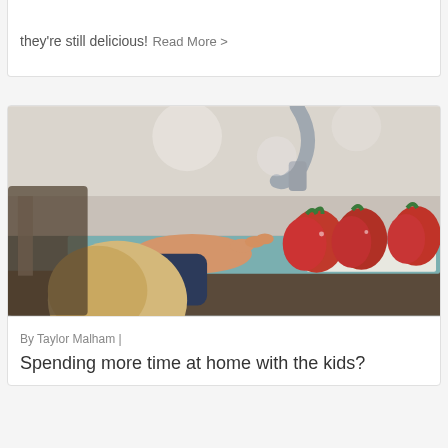they're still delicious!
Read More >
[Figure (photo): A child reaching over a kitchen counter to grab strawberries on a cutting board, with a kitchen faucet and blurred kitchen background visible.]
By Taylor Malham |
Spending more time at home with the kids?